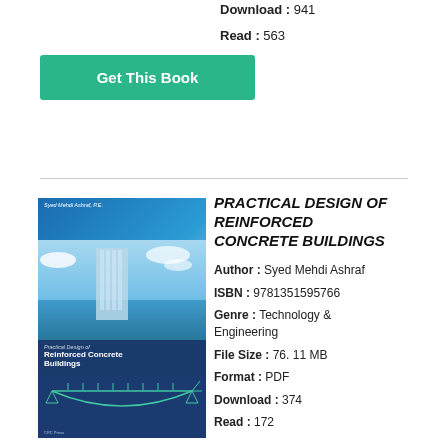Download : 941
Read : 563
Get This Book
[Figure (photo): Book cover of Practical Design of Reinforced Concrete Buildings by Syed Mehdi Ashraf, P.E., showing a tall concrete building and a structural diagram]
PRACTICAL DESIGN OF REINFORCED CONCRETE BUILDINGS
Author : Syed Mehdi Ashraf
ISBN : 9781351595766
Genre : Technology & Engineering
File Size : 76. 11 MB
Format : PDF
Download : 374
Read : 172